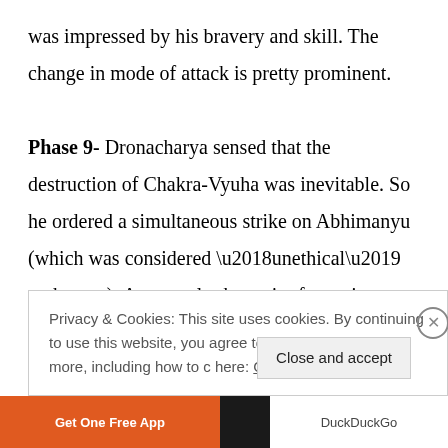was impressed by his bravery and skill. The change in mode of attack is pretty prominent. Phase 9- Dronacharya sensed that the destruction of Chakra-Vyuha was inevitable. So he ordered a simultaneous strike on Abhimanyu (which was considered ‘unethical’ at that era). As a result, the entire formation collapsed down on Abhimanyu. So, at the end, Abhimanyu actually managed to destroy the Chakra-Vyuha, though he was not alive
Privacy & Cookies: This site uses cookies. By continuing to use this website, you agree to their use. To find out more, including how to c here: Cookie Policy
Close and accept